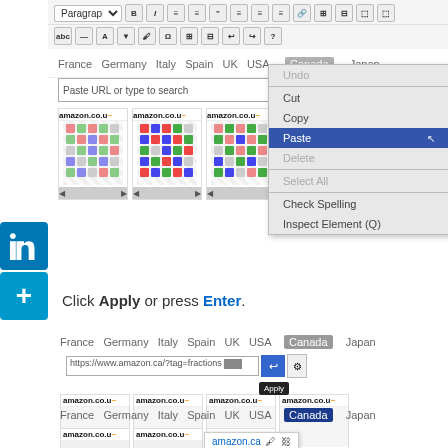[Figure (screenshot): WordPress editor toolbar with Paragraph dropdown and formatting icons including Bold, Italic, lists, alignment, link chain icon, and table tools]
[Figure (screenshot): Countries tab bar showing France Germany Italy Spain UK USA Canada(active) Japan, with link insertion dialog open, right-click context menu visible showing Undo/Cut/Copy/Paste(highlighted)/Delete/Select All/Check Spelling/Inspect Element, and four Amazon product thumbnails with colorful book cover]
Click Apply or press Enter.
[Figure (screenshot): Countries tab bar France Germany Italy Spain UK USA Canada(active) Japan with URL bar showing https://www.amazon.ca/?tag=fractions... and Apply tooltip visible, with Amazon product row below]
[Figure (screenshot): Countries tab bar France Germany Italy Spain UK USA Canada(active-blue) Japan with amazon.ca popup link tooltip visible, and Amazon product thumbnails row at bottom]